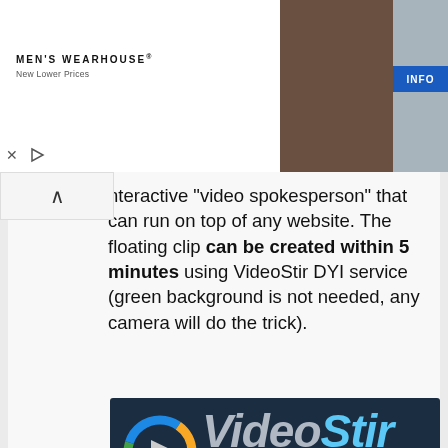[Figure (advertisement): Men's Wearhouse advertisement banner with couple in formal wear and a man in a suit, with INFO button]
interactive “video spokesperson” that can run on top of any website. The floating clip can be created within 5 minutes using VideoStir DYI service (green background is not needed, any camera will do the trick).
[Figure (logo): VideoStir logo on dark navy background with colorful ring icon and tagline 'Adding a personal touch!', overlay text 'VideoStir Spokesperson']
VideoStir Spokesperson
10. EV WordPress